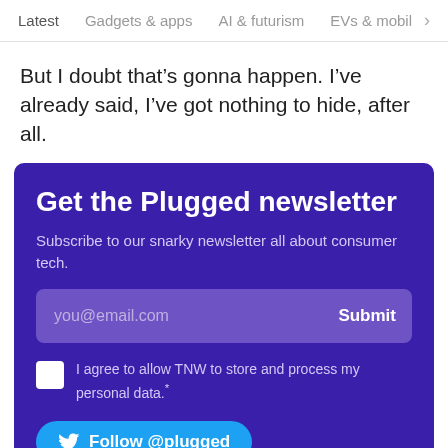Latest   Gadgets & apps   AI & futurism   EVs & mobil
But I doubt that’s gonna happen. I’ve already said, I’ve got nothing to hide, after all.
Get the Plugged newsletter
Subscribe to our snarky newsletter all about consumer tech.
you@email.com   Submit
I agree to allow TNW to store and process my personal data.*
Follow @plugged